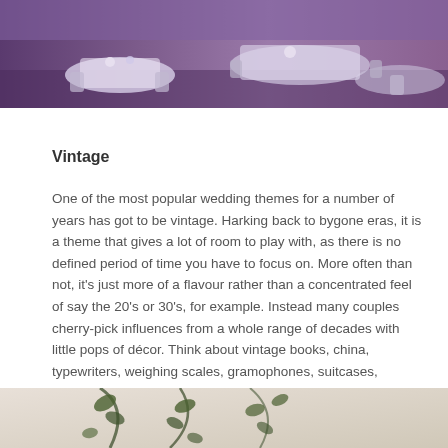[Figure (photo): Wedding banquet hall with white draped tables and chairs, purple/blue ambient lighting, decorated with flowers]
Vintage
One of the most popular wedding themes for a number of years has got to be vintage. Harking back to bygone eras, it is a theme that gives a lot of room to play with, as there is no defined period of time you have to focus on. More often than not, it’s just more of a flavour rather than a concentrated feel of say the 20’s or 30’s, for example. Instead many couples cherry-pick influences from a whole range of decades with little pops of décor. Think about vintage books, china, typewriters, weighing scales, gramophones, suitcases, birdcages, lanterns, clocks, etc. The list is endless and is only limited by your imagination.
[Figure (photo): Outdoor or indoor wedding decor with leafy branches and soft light background]